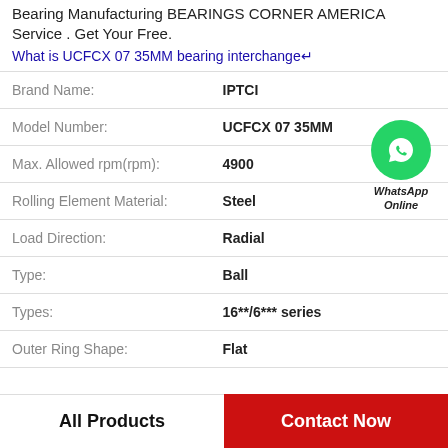Bearing Manufacturing BEARINGS CORNER AMERICA Service . Get Your Free.
What is UCFCX 07 35MM bearing interchange↵
| Brand Name: | IPTCI |
| Model Number: | UCFCX 07 35MM |
| Max. Allowed rpm(rpm): | 4900 |
| Rolling Element Material: | Steel |
| Load Direction: | Radial |
| Type: | Ball |
| Types: | 16**/6*** series |
| Outer Ring Shape: | Flat |
[Figure (logo): WhatsApp Online green circle icon with phone symbol and text WhatsApp Online]
All Products
Contact Now